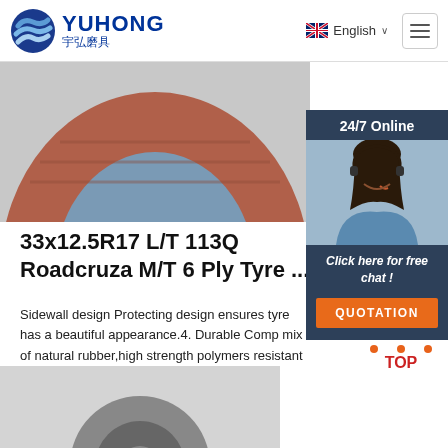YUHONG 宇弘磨具 | English
[Figure (photo): Close-up of a red and blue tyre sidewall/tread area, circular shape visible from above]
[Figure (photo): 24/7 Online chat widget with a smiling woman wearing a headset, dark navy background, 'Click here for free chat!' text, and orange QUOTATION button]
33x12.5R17 L/T 113Q Roadcruza M/T 6 Ply Tyre ...
Sidewall design Protecting design ensures tyre has a beautiful appearance.4. Durable Comp mix of natural rubber,high strength polymers resistant materials provides cut-resistance a tread on unpaved gravel roads.
[Figure (other): TOP scroll-to-top button with orange dots forming a triangle and red TOP text]
[Figure (photo): Bottom strip showing partial product image on grey background]